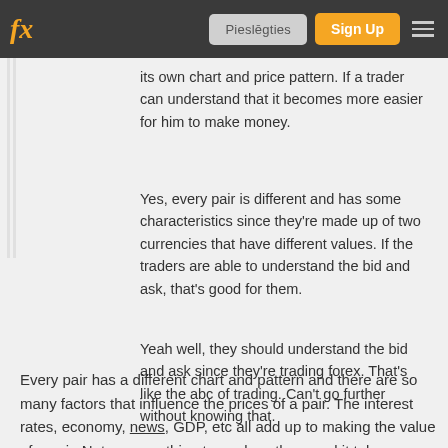fx  Pieslēgties  Sign Up
its own chart and price pattern. If a trader can understand that it becomes more easier for him to make money.
Yes, every pair is different and has some characteristics since they're made up of two currencies that have different values. If the traders are able to understand the bid and ask, that's good for them.
Yeah well, they should understand the bid and ask since they're trading forex. That's like the abc of trading. Can't go further without knowing that.
Every pair has a different chart and pattern and there are so many factors that influence the prices of a pair. The interest rates, economy, news, GDP, etc all add up to making the value of a pair. Not an easy thing to analyse them and it takes some time and understanding. I was researching some exotic pairs, anyone here trades them?